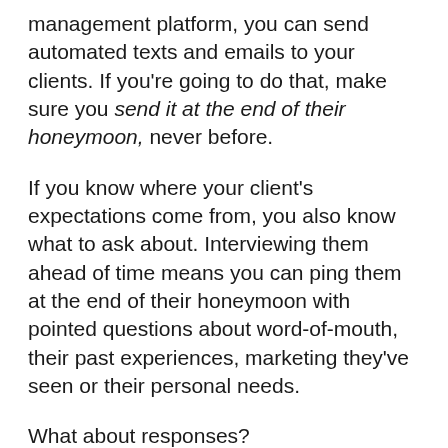management platform, you can send automated texts and emails to your clients. If you're going to do that, make sure you send it at the end of their honeymoon, never before.
If you know where your client's expectations come from, you also know what to ask about. Interviewing them ahead of time means you can ping them at the end of their honeymoon with pointed questions about word-of-mouth, their past experiences, marketing they've seen or their personal needs.
What about responses?